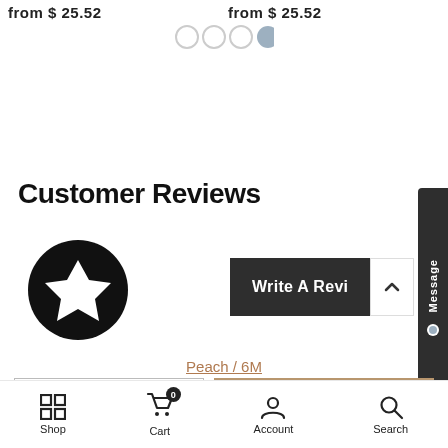from $ 25.52
from $ 25.52
[Figure (other): Four circular pagination dots, first three white/outline, last one filled blue-gray]
Customer Reviews
[Figure (other): Black circle with white star icon inside]
[Figure (other): Dark button labeled 'Write A Revi...' with an up-arrow chevron button to its right, and a vertical 'Message' tab on the far right edge]
Peach / 6M
[Figure (other): Quantity selector showing minus button, 1, plus button]
[Figure (other): Tan/beige ADD TO CART button]
Shop   Cart 0   Account   Search